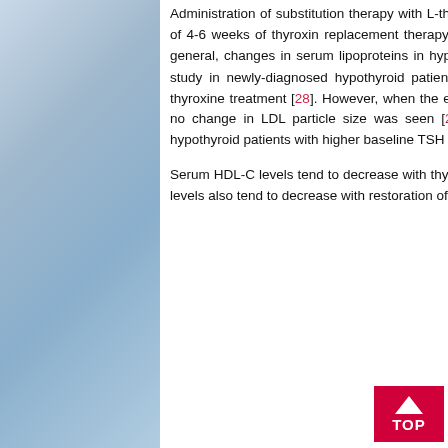Administration of substitution therapy with L-thyroxine significantly improves lipid metabolism abnormalities. A period of 4-6 weeks of thyroxin replacement therapy is usually needed to correct dyslipidemia in overt hypothyroidism. In general, changes in serum lipoproteins in hypothyroid patients are correlated with changes in free T4 (FT4) [66]. A study in newly-diagnosed hypothyroid patients (n=60) showed a decrease in serum TC and LDL-C levels after thyroxine treatment [28]. However, when the effects of substitution therapy on qualitative lipid profile were assessed no change in LDL particle size was seen [28]. A more dramatic reduction of TC levels has been observed in hypothyroid patients with higher baseline TSH levels [67].
Serum HDL-C levels tend to decrease with thyroid replacement, but this is a less consistent finding [68]. Serum Lp(a) levels also tend to decrease with restoration of